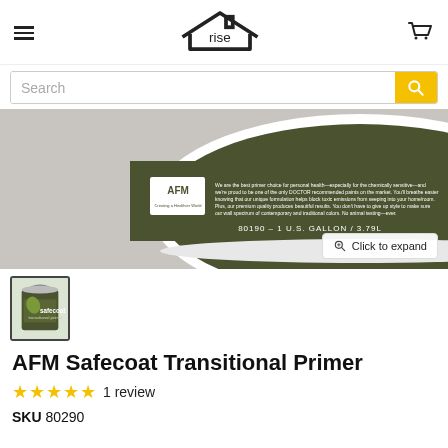rise
Search
[Figure (photo): Close-up of AFM Safecoat Transitional Primer paint can lid showing the AFM logo and text, label reads 80190 - 1 U.S. GALLON / 3.79L]
[Figure (photo): Thumbnail image of AFM Safecoat Transitional Primer paint can with green label]
AFM Safecoat Transitional Primer
★★★★★ 1 review
SKU 80290